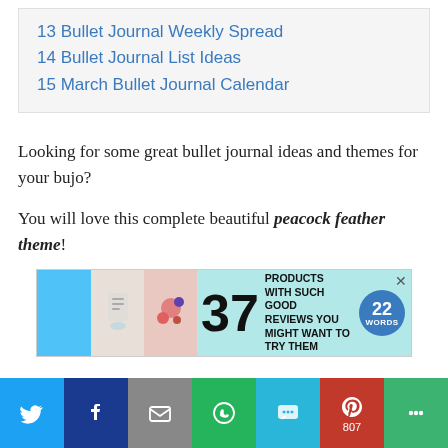13 Bullet Journal Weekly Spread
14 Bullet Journal List Ideas
15 March Bullet Journal Calendar
Looking for some great bullet journal ideas and themes for your bujo?
You will love this complete beautiful peacock feather theme!
[Figure (infographic): Advertisement banner: 37 Beauty Products With Such Good Reviews You Might Want To Try Them Yourself, with a 22 Words badge]
You can use these ideas for your March bullet journal
Social share bar: Twitter, Facebook, Email, WhatsApp, SMS, Pinterest (807), More